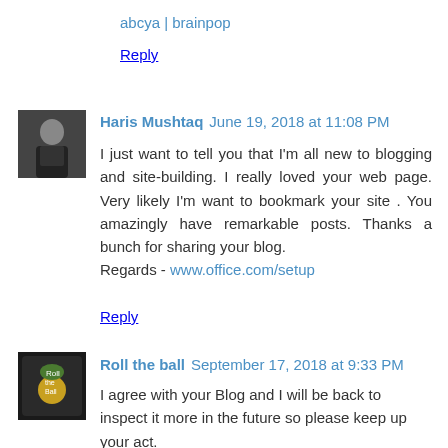abcya | brainpop
Reply
Haris Mushtaq  June 19, 2018 at 11:08 PM
I just want to tell you that I'm all new to blogging and site-building. I really loved your web page. Very likely I'm want to bookmark your site . You amazingly have remarkable posts. Thanks a bunch for sharing your blog.
Regards - www.office.com/setup
Reply
Roll the ball  September 17, 2018 at 9:33 PM
I agree with your Blog and I will be back to inspect it more in the future so please keep up your act.
- roll the ball
Impossible game
JSON formatter -